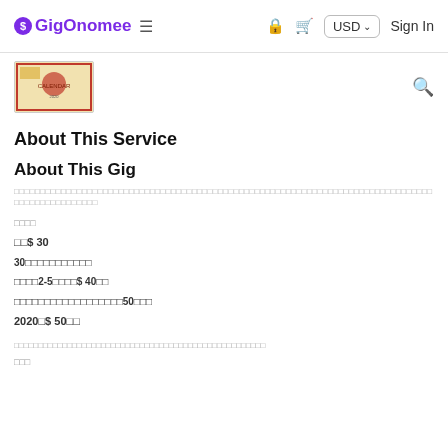GigOnomee | USD | Sign In
[Figure (screenshot): Thumbnail image of a decorative calendar or poster with red and gold design elements]
About This Service
About This Gig
[garbled/encoded text block describing service]
□□□□
□□$ 30
30□□□□□□□□□□□
□□□□2-5□□□□$ 40□□
□□□□□□□□□□□□□□□□□□50□□□
2020□$ 50□□
[garbled/encoded text block]
□□□